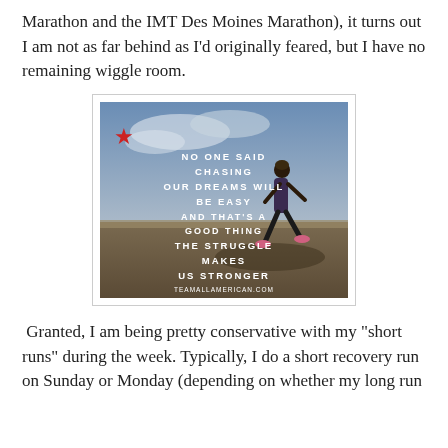Marathon and the IMT Des Moines Marathon), it turns out I am not as far behind as I'd originally feared, but I have no remaining wiggle room.
[Figure (illustration): Motivational running image with a person running along a path, with overlaid white text reading: NO ONE SAID CHASING OUR DREAMS WILL BE EASY AND THAT'S A GOOD THING THE STRUGGLE MAKES US STRONGER. A red star icon appears in the upper left. Website: TEAMALLAMERICAN.COM]
Granted, I am being pretty conservative with my "short runs" during the week. Typically, I do a short recovery run on Sunday or Monday (depending on whether my long run